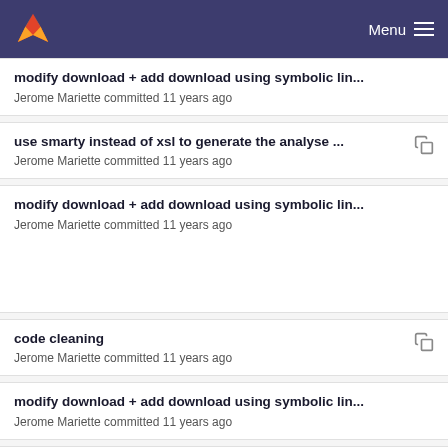Menu
modify download + add download using symbolic lin...
Jerome Mariette committed 11 years ago
use smarty instead of xsl to generate the analyse ...
Jerome Mariette committed 11 years ago
modify download + add download using symbolic lin...
Jerome Mariette committed 11 years ago
code cleaning
Jerome Mariette committed 11 years ago
modify download + add download using symbolic lin...
Jerome Mariette committed 11 years ago
code cleaning
Jerome Mariette committed 11 years ago